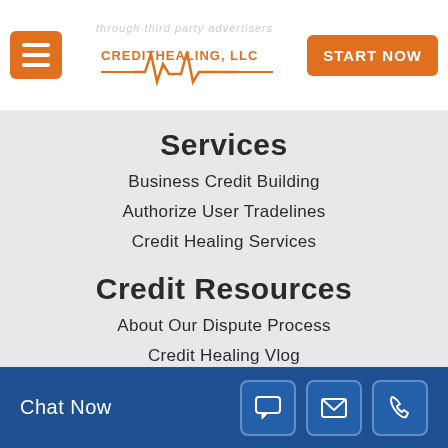through third party advertisers
[Figure (logo): CreditHealing LLC logo with heartbeat/ECG line graphic in orange]
START NOW
Services
Business Credit Building
Authorize User Tradelines
Credit Healing Services
Credit Resources
About Our Dispute Process
Credit Healing Vlog
Chat Now